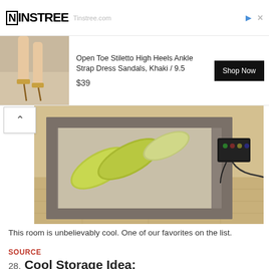[Figure (screenshot): Ninstree advertisement banner showing logo, site URL 'Tinstree.com', forward arrow and close icons]
[Figure (photo): Advertisement product photo of high heel ankle strap sandals, with product title 'Open Toe Stiletto High Heels Ankle Strap Dress Sandals, Khaki / 9.5', price '$39', and 'Shop Now' button]
[Figure (photo): Photo of a low-profile floor bed/sofa with gray leather frame and three large green/yellow pillow cushions on a light wood floor, with an electronic device visible on the right side]
This room is unbelievably cool. One of our favorites on the list.
SOURCE
28. Cool Storage Idea: